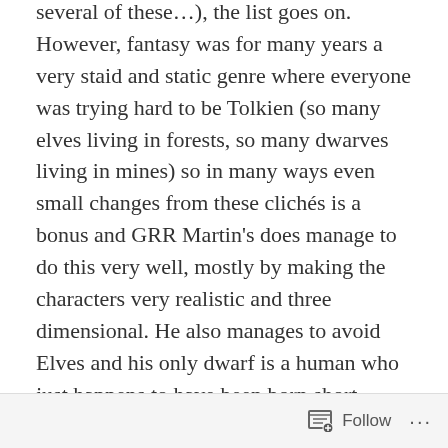several of these…), the list goes on. However, fantasy was for many years a very staid and static genre where everyone was trying hard to be Tolkien (so many elves living in forests, so many dwarves living in mines) so in many ways even small changes from these clichés is a bonus and GRR Martin's does manage to do this very well, mostly by making the characters very realistic and three dimensional. He also manages to avoid Elves and his only dwarf is a human who just happens to have been born short rather than a member of an ancient, gold obsessed race. But he does more than this, he often twists expectations so that what you think is going to happen doesn't. There are a few examples of this I could mention, one of which is this week's big shock end (which I admit was not a shock to anyone who read the books).
Follow ···